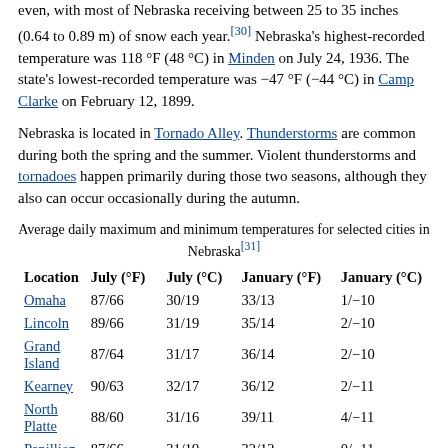even, with most of Nebraska receiving between 25 to 35 inches (0.64 to 0.89 m) of snow each year.[30] Nebraska's highest-recorded temperature was 118 °F (48 °C) in Minden on July 24, 1936. The state's lowest-recorded temperature was −47 °F (−44 °C) in Camp Clarke on February 12, 1899.
Nebraska is located in Tornado Alley. Thunderstorms are common during both the spring and the summer. Violent thunderstorms and tornadoes happen primarily during those two seasons, although they also can occur occasionally during the autumn.
Average daily maximum and minimum temperatures for selected cities in Nebraska[31]
| Location | July (°F) | July (°C) | January (°F) | January (°C) |
| --- | --- | --- | --- | --- |
| Omaha | 87/66 | 30/19 | 33/13 | 1/−10 |
| Lincoln | 89/66 | 31/19 | 35/14 | 2/−10 |
| Grand Island | 87/64 | 31/17 | 36/14 | 2/−10 |
| Kearney | 90/63 | 32/17 | 36/12 | 2/−11 |
| North Platte | 88/60 | 31/16 | 39/11 | 4/−11 |
| Papillion | 87/66 | 31/19 | 32/12 | 0/−11 |
Demographics